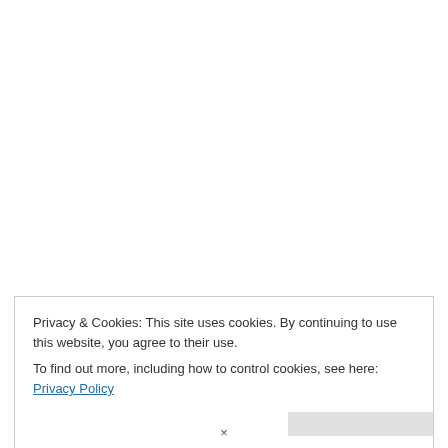Read More »
Privacy & Cookies: This site uses cookies. By continuing to use this website, you agree to their use.
To find out more, including how to control cookies, see here: Privacy Policy